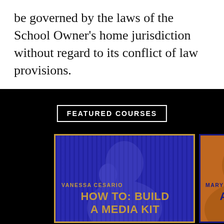be governed by the laws of the School Owner's home jurisdiction without regard to its conflict of law provisions.
FEATURED COURSES
[Figure (illustration): Blue-tinted course card for Vanessa Cesario: HOW TO: BUILD A MEDIA KIT, with an orange border and a photo of a woman with her hand near her face]
[Figure (illustration): Orange-tinted course card partially visible on the right, with MARY Y as author and ALL TH... / SAL... as course title on a dark blue border]